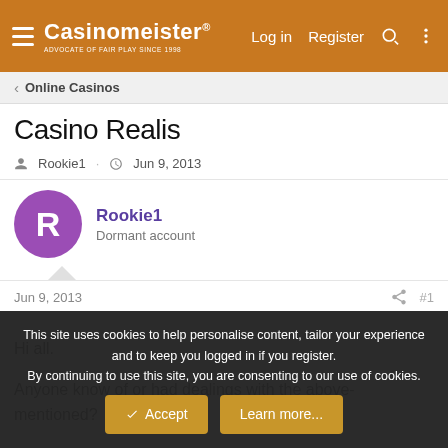Casinomeister® — Log in  Register
Online Casinos
Casino Realis
Rookie1 · Jun 9, 2013
Rookie1
Dormant account
Jun 9, 2013  #1
Hi all.

Anyone know of or had dealings with the above-mentioned?
This site uses cookies to help personalise content, tailor your experience and to keep you logged in if you register.
By continuing to use this site, you are consenting to our use of cookies.
[Accept] [Learn more...]